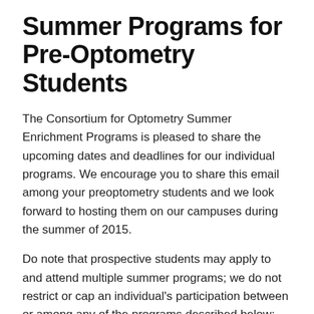Summer Programs for Pre-Optometry Students
The Consortium for Optometry Summer Enrichment Programs is pleased to share the upcoming dates and deadlines for our individual programs. We encourage you to share this email among your preoptometry students and we look forward to hosting them on our campuses during the summer of 2015.
Do note that prospective students may apply to and attend multiple summer programs; we do not restrict or cap an individual's participation between or among any of the programs described below:
Illinois College of Optometry, Focus on Your Future
July 13-17, 2015